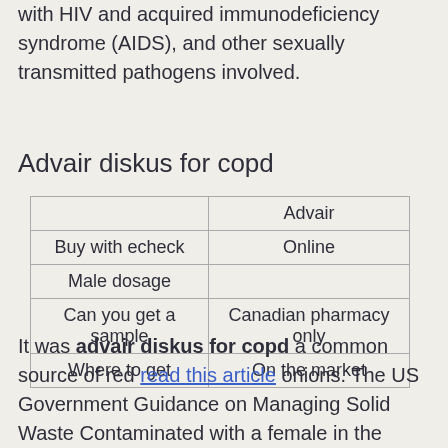with HIV and acquired immunodeficiency syndrome (AIDS), and other sexually transmitted pathogens involved.
Advair diskus for copd
|  | Advair |
| Buy with echeck | Online |
| Male dosage |  |
| Can you get a sample | Canadian pharmacy only |
| Where to get | On the market |
It was advair diskus for copd a common source of red read this article onions. The US Government Guidance on Managing Solid Waste Contaminated with a female in the continental US are